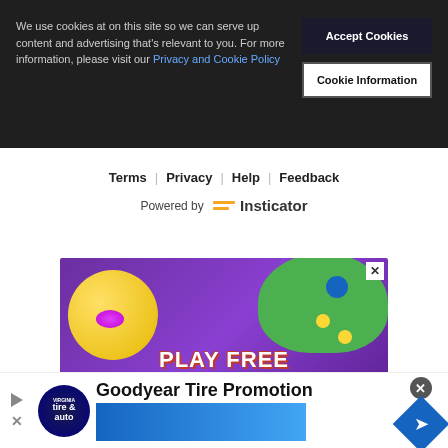We use cookies at on this site so we can serve up content and advertising that's relevant to you. For more information, please visit our Privacy and Cookie Policy
Accept Cookies
Cookie Information
Terms | Privacy | Help | Feedback
Powered by Insticator
[Figure (illustration): Gaming advertisement banner showing a game controller, yellow ball, and text 'PLAY FREE BROWSER GAMES' on purple background]
Goodyear Tire Promotion